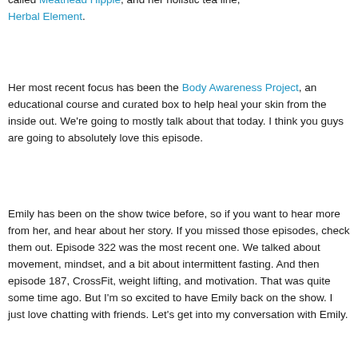called Meathead Hippie, and her holistic tea line, Herbal Element.
Her most recent focus has been the Body Awareness Project, an educational course and curated box to help heal your skin from the inside out. We're going to mostly talk about that today. I think you guys are going to absolutely love this episode.
Emily has been on the show twice before, so if you want to hear more from her, and hear about her story. If you missed those episodes, check them out. Episode 322 was the most recent one. We talked about movement, mindset, and a bit about intermittent fasting. And then episode 187, CrossFit, weight lifting, and motivation. That was quite some time ago. But I'm so excited to have Emily back on the show. I just love chatting with friends. Let's get into my conversation with Emily.